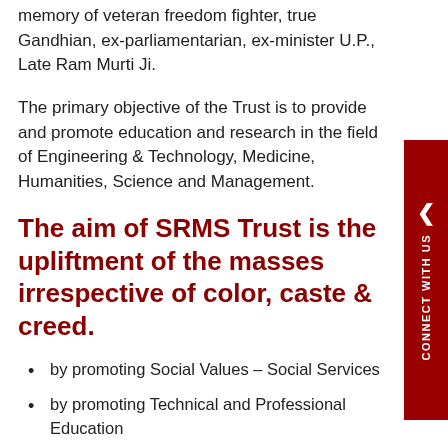memory of veteran freedom fighter, true Gandhian, ex-parliamentarian, ex-minister U.P., Late Ram Murti Ji.
The primary objective of the Trust is to provide and promote education and research in the field of Engineering & Technology, Medicine, Humanities, Science and Management.
The aim of SRMS Trust is the upliftment of the masses irrespective of color, caste & creed.
by promoting Social Values – Social Services
by promoting Technical and Professional Education
by promoting Health & Medical Education